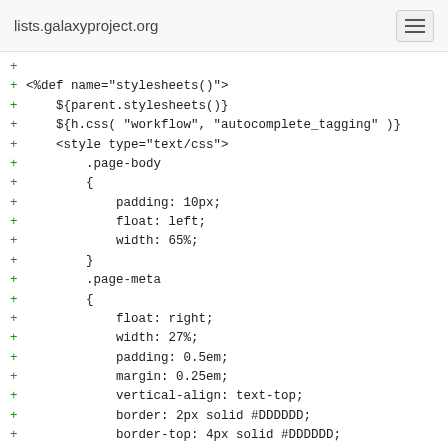lists.galaxyproject.org
+
+<%def name="stylesheets()">
+    ${parent.stylesheets()}
+    ${h.css( "workflow", "autocomplete_tagging" )}
+    <style type="text/css">
+        .page-body
+        {
+            padding: 10px;
+            float: left;
+            width: 65%;
+        }
+        .page-meta
+        {
+            float: right;
+            width: 27%;
+            padding: 0.5em;
+            margin: 0.25em;
+            vertical-align: text-top;
+            border: 2px solid #DDDDDD;
+            border-top: 4px solid #DDDDDD;